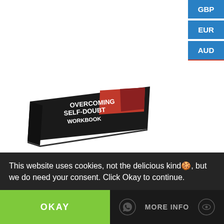[Figure (screenshot): Currency selector buttons (GBP, EUR, AUD) in blue, positioned top-right]
[Figure (photo): Book titled 'OVERCOMING SELF-DOUBT WORKBOOK' shown at an angle at bottom-left]
This website uses cookies, not the delicious kind🍪, but we do need your consent. Click Okay to continue.
OKAY
MORE INFO